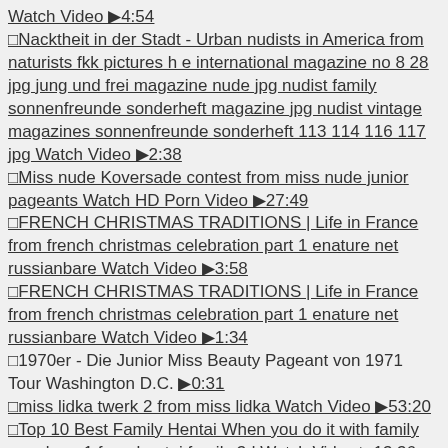Watch Video ▶4:54
□Nacktheit in der Stadt - Urban nudists in America from naturists fkk pictures h e international magazine no 8 28 jpg jung und frei magazine nude jpg nudist family sonnenfreunde sonderheft magazine jpg nudist vintage magazines sonnenfreunde sonderheft 113 114 116 117 jpg Watch Video ▶2:38
□Miss nude Koversade contest from miss nude junior pageants Watch HD Porn Video ▶27:49
□FRENCH CHRISTMAS TRADITIONS | Life in France from french christmas celebration part 1 enature net russianbare Watch Video ▶3:58
□FRENCH CHRISTMAS TRADITIONS | Life in France from french christmas celebration part 1 enature net russianbare Watch Video ▶1:34
□1970er - Die Junior Miss Beauty Pageant von 1971 Tour Washington D.C. ▶0:31
□miss lidka twerk 2 from miss lidka Watch Video ▶53:20
□Top 10 Best Family Hentai When you do it with family members 1 from hentai family 3d Watch Video ▶13:36
□Top 10 Best Family Hentai When you do it with family